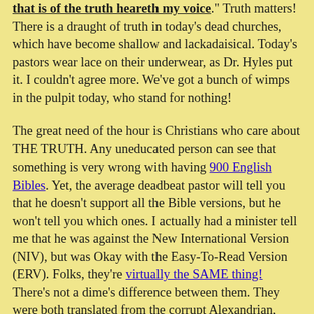that is of the truth heareth my voice." Truth matters! There is a draught of truth in today's dead churches, which have become shallow and lackadaisical. Today's pastors wear lace on their underwear, as Dr. Hyles put it. I couldn't agree more. We've got a bunch of wimps in the pulpit today, who stand for nothing!
The great need of the hour is Christians who care about THE TRUTH. Any uneducated person can see that something is very wrong with having 900 English Bibles. Yet, the average deadbeat pastor will tell you that he doesn't support all the Bible versions, but he won't tell you which ones. I actually had a minister tell me that he was against the New International Version (NIV), but was Okay with the Easy-To-Read Version (ERV). Folks, they're virtually the SAME thing! There's not a dime's difference between them. They were both translated from the corrupt Alexandrian, Egypt, Greek manuscripts, which Brooke Westcott and Fenton Hort popularized in 1881. Satan is laughing today at all the confusion he has caused in the churches, because of the woeful ignorance, arrogance and shameful cowardice of multitudes of ministers. I care! Do you? If you do, then please help make a diff...